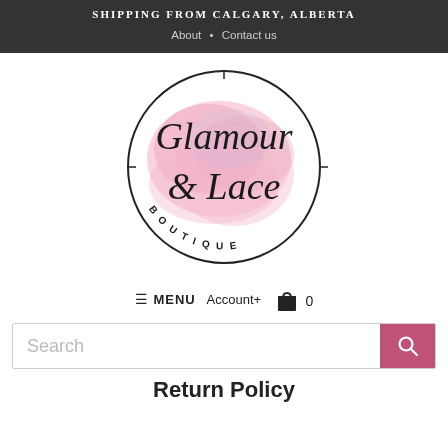SHIPPING FROM CALGARY, ALBERTA
About • Contact us
[Figure (logo): Glamour & Lace Boutique circular logo with pink watercolor background and script lettering]
≡ MENU  Account+  🛍 0
Search
Return Policy